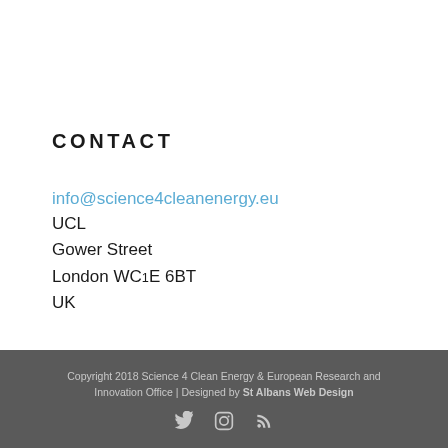CONTACT
info@science4cleanenergy.eu
UCL
Gower Street
London WC1E 6BT
UK
Copyright 2018 Science 4 Clean Energy & European Research and Innovation Office | Designed by St Albans Web Design